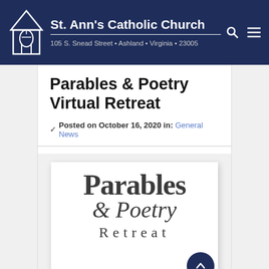St. Ann's Catholic Church — 105 S. Snead Street • Ashland • Virginia • 23005
Parables & Poetry Virtual Retreat
Posted on October 16, 2020 in: General News
[Figure (illustration): Decorative retreat logo image showing the text 'Parables & Poetry Retreat' in large serif and script fonts on a white card with shadow]
Find program materials here – Parables &